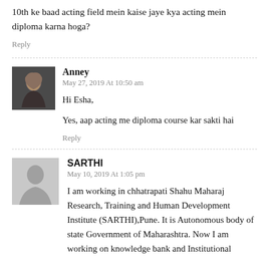10th ke baad acting field mein kaise jaye kya acting mein diploma karna hoga?
Reply
Anney
May 27, 2019 At 10:50 am
Hi Esha,
Yes, aap acting me diploma course kar sakti hai
Reply
SARTHI
May 10, 2019 At 1:05 pm
I am working in chhatrapati Shahu Maharaj Research, Training and Human Development Institute (SARTHI),Pune. It is Autonomous body of state Government of Maharashtra. Now I am working on knowledge bank and Institutional